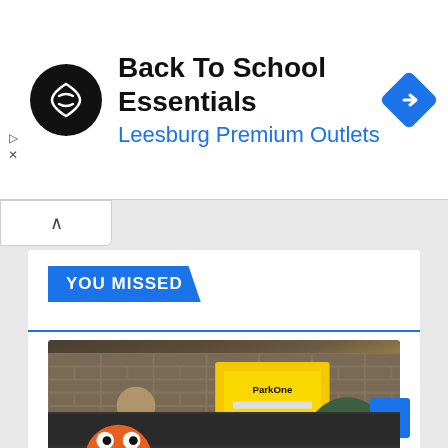[Figure (infographic): Advertisement banner: Back To School Essentials at Leesburg Premium Outlets, with a black circular logo with double arrow icon on left, blue diamond navigation icon on right]
YOU MISSED
[Figure (photo): News article card with photo of a man near a yellow ParkOne parking sign. Tags: PAISLEY, POLITICS. Title: Councillor hits out at state of private car park in Paisley. Date: AUG 19, 2022. Author: RICKY KELLY]
[Figure (photo): Partial view of next article card showing orange cartoon character at bottom of page]